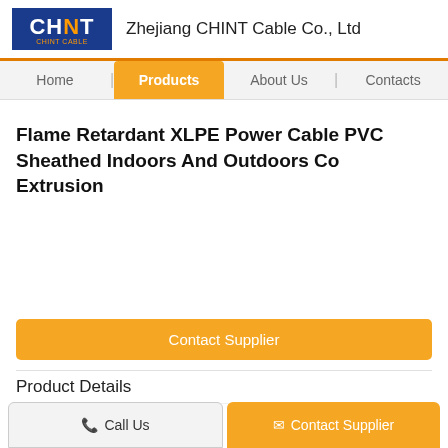CHINT — Zhejiang CHINT Cable Co., Ltd
[Figure (screenshot): Navigation bar with Home, Products (active/highlighted in orange), About Us, and Contacts tabs]
Flame Retardant XLPE Power Cable PVC Sheathed Indoors And Outdoors Co Extrusion
[Figure (other): Product image area (blank/white)]
Contact Supplier
Product Details
Place of Origin: China
Call Us   Contact Supplier